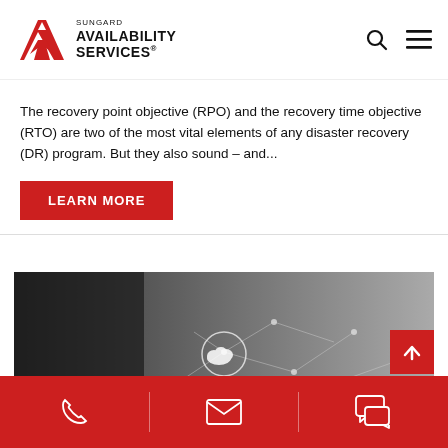[Figure (logo): Sungard Availability Services logo with red angular geometric icon and bold text]
The recovery point objective (RPO) and the recovery time objective (RTO) are two of the most vital elements of any disaster recovery (DR) program. But they also sound – and...
LEARN MORE
[Figure (photo): Black and white photo of a person in a suit with a network/cloud connectivity graphic overlay]
Phone | Email | Chat contact icons on red footer bar